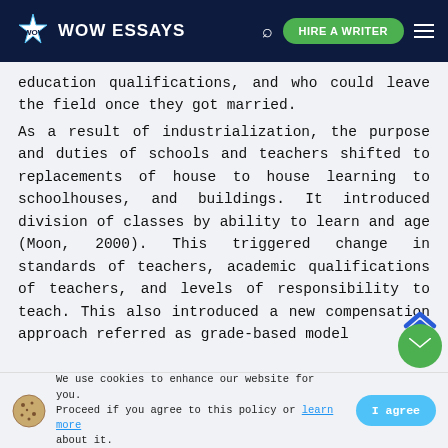WOW ESSAYS | HIRE A WRITER
education qualifications, and who could leave the field once they got married. As a result of industrialization, the purpose and duties of schools and teachers shifted to replacements of house to house learning to schoolhouses, and buildings. It introduced division of classes by ability to learn and age (Moon, 2000). This triggered change in standards of teachers, academic qualifications of teachers, and levels of responsibility to teach. This also introduced a new compensation approach referred as grade-based model
We use cookies to enhance our website for you. Proceed if you agree to this policy or learn more about it. | I agree